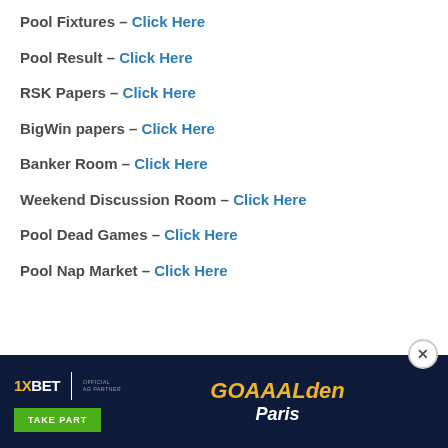Pool Fixtures – Click Here
Pool Result – Click Here
RSK Papers – Click Here
BigWin papers  – Click Here
Banker Room – Click Here
Weekend Discussion Room – Click Here
Pool Dead Games – Click Here
Pool Nap Market – Click Here
[Figure (advertisement): 1XBET advertisement banner with GOAAALden Paris text on dark navy background, with a green TAKE PART button]